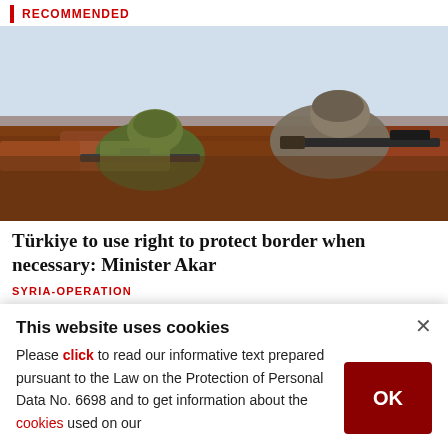RECOMMENDED
[Figure (photo): Two soldiers in camouflage uniforms with helmets lying on a dirt embankment, aiming rifles. Sky visible in background.]
Türkiye to use right to protect border when necessary: Minister Akar
SYRIA-OPERATION
LAST UPDATE: APR 08, 2020 6:22 PM
This website uses cookies
Please click to read our informative text prepared pursuant to the Law on the Protection of Personal Data No. 6698 and to get information about the cookies used on our